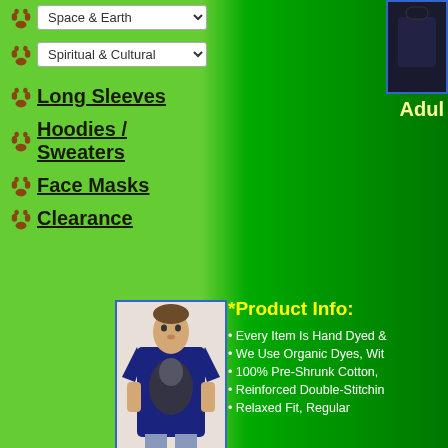Space & Earth (dropdown)
Spiritual & Cultural (dropdown)
Long Sleeves
Hoodies / Sweaters
Face Masks
Clearance
[Figure (photo): Man wearing a navy blue wolf graphic t-shirt]
Adul
*Product Info:
Every Item Is Hand Dyed &
We Use Organic Dyes, Wit
100% Pre-Shrunk Cotton,
Reinforced Double-Stitchin
Relaxed Fit, Regular